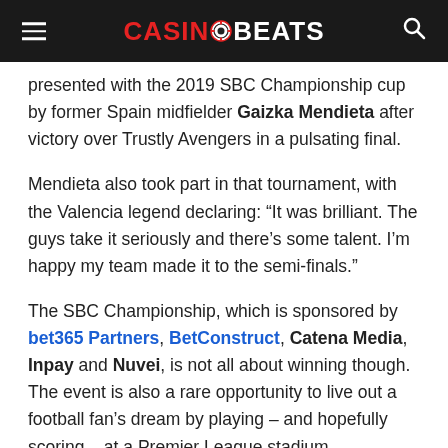CASINOBEATS
presented with the 2019 SBC Championship cup by former Spain midfielder Gaizka Mendieta after victory over Trustly Avengers in a pulsating final.
Mendieta also took part in that tournament, with the Valencia legend declaring: “It was brilliant. The guys take it seriously and there’s some talent. I’m happy my team made it to the semi-finals.”
The SBC Championship, which is sponsored by bet365 Partners, BetConstruct, Catena Media, Inpay and Nuvei, is not all about winning though. The event is also a rare opportunity to live out a football fan’s dream by playing – and hopefully scoring – at a Premier League stadium.
The excitement of running out at a ground that has been the